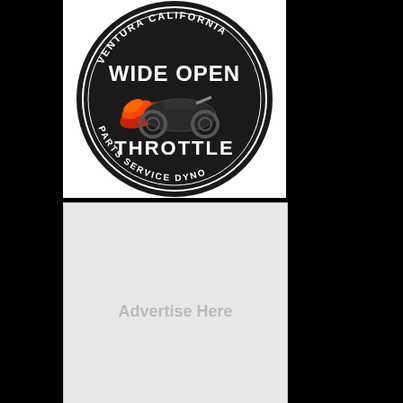[Figure (logo): Wide Open Throttle logo — circular black badge with motorcycle and flame illustration, text: VENTURA CALIFORNIA, WIDE OPEN, THROTTLE, PARTS, SERVICE, DYNO]
[Figure (other): Gray advertisement placeholder box with text 'Advertise Here']
Members Birthdays
i@ck@$$, dyno56ca (66), 2tyred alxhro (31)
[Figure (other): Seamless food ordering advertisement banner with pizza image, Seamless logo, and ORDER NOW button. infolinks label visible. Close button (x) in top right.]